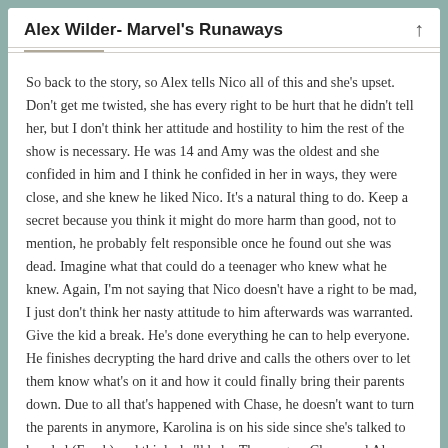Alex Wilder- Marvel's Runaways
So back to the story, so Alex tells Nico all of this and she's upset. Don't get me twisted, she has every right to be hurt that he didn't tell her, but I don't think her attitude and hostility to him the rest of the show is necessary. He was 14 and Amy was the oldest and she confided in him and I think he confided in her in ways, they were close, and she knew he liked Nico. It's a natural thing to do. Keep a secret because you think it might do more harm than good, not to mention, he probably felt responsible once he found out she was dead. Imagine what that could do a teenager who knew what he knew. Again, I'm not saying that Nico doesn't have a right to be mad, I just don't think her nasty attitude to him afterwards was warranted. Give the kid a break. He's done everything he can to help everyone. He finishes decrypting the hard drive and calls the others over to let them know what's on it and how it could finally bring their parents down. Due to all that's happened with Chase, he doesn't want to turn the parents in anymore, Karolina is on his side since she's talked to her dad (Frank) and thinks he'll help. They argue, Chase and Alex have a fight and Chase deliberately breaks the